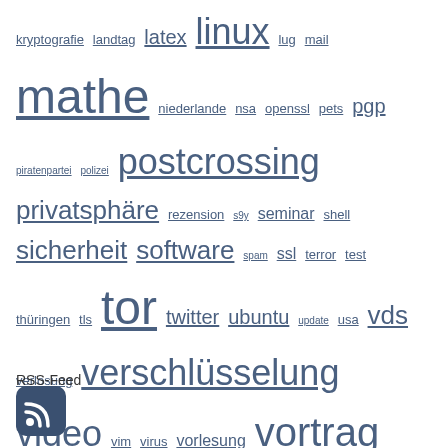kryptografie landtag latex linux lug mail mathe niederlande nsa openssl pets pgp piratenpartei polizei postcrossing privatsphäre rezension s9y seminar shell sicherheit software spam ssl terror test thüringen tls tor twitter ubuntu update usa vds verlosung verschlüsselung video vim virus vorlesung vortrag wahl webseite wikileaks windows youtube zensur zensus zsh überwachung
RSS-Feed
[Figure (logo): RSS feed icon - rounded square dark blue with white RSS symbol]